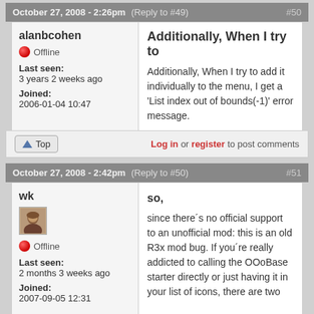October 27, 2008 - 2:26pm (Reply to #49) #50
alanbcohen
Offline
Last seen: 3 years 2 weeks ago
Joined: 2006-01-04 10:47
Additionally, When I try to
Additionally, When I try to add it individually to the menu, I get a 'List index out of bounds(-1)' error message.
Top
Log in or register to post comments
October 27, 2008 - 2:42pm (Reply to #50) #51
wk
Offline
Last seen: 2 months 3 weeks ago
Joined: 2007-09-05 12:31
so,
since there´s no official support to an unofficial mod: this is an old R3x mod bug. If you´re really addicted to calling the OOoBase starter directly or just having it in your list of icons, there are two